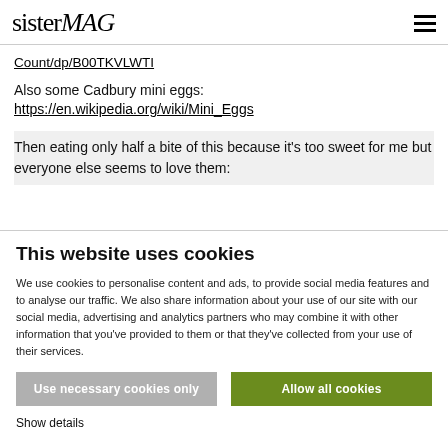sisterMAG
Count/dp/B00TKVLWTI
Also some Cadbury mini eggs:
https://en.wikipedia.org/wiki/Mini_Eggs
Then eating only half a bite of this because it's too sweet for me but everyone else seems to love them:
This website uses cookies
We use cookies to personalise content and ads, to provide social media features and to analyse our traffic. We also share information about your use of our site with our social media, advertising and analytics partners who may combine it with other information that you've provided to them or that they've collected from your use of their services.
Use necessary cookies only
Allow all cookies
Show details